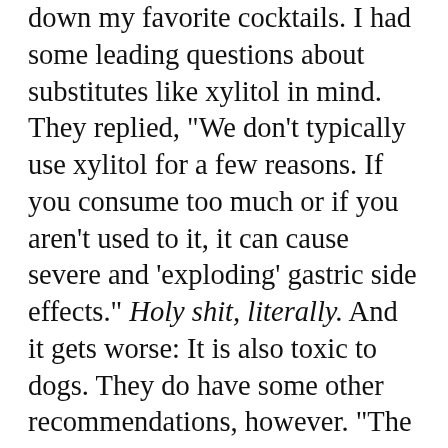down my favorite cocktails. I had some leading questions about substitutes like xylitol in mind. They replied, "We don't typically use xylitol for a few reasons. If you consume too much or if you aren't used to it, it can cause severe and 'exploding' gastric side effects." Holy shit, literally. And it gets worse: It is also toxic to dogs. They do have some other recommendations, however. "The natural sweeteners that we use include monkfruit (extract of the lo han guo fruit from China), erythritol (a sugar alcohol made from fermented sugar cane) and stevia (extracted from the stevia plant and 200 times sweeter than sugar). All of these are indigestible and have zero effect on blood sugar. The brand Swerve is erythritol blended with oligosaccarides (no digestible short-chain fructose molecules) that measures cup for cup like sugar." I like where this is going. As follow... of their delightful cocktails, while in...